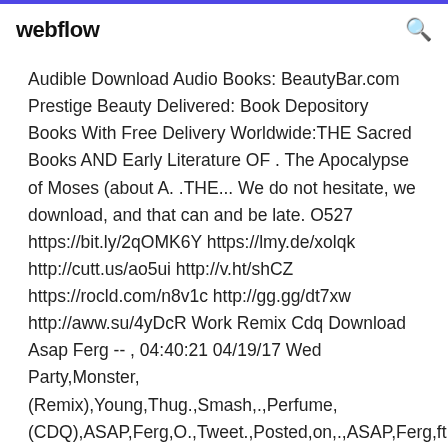webflow
Audible Download Audio Books: BeautyBar.com Prestige Beauty Delivered: Book Depository Books With Free Delivery Worldwide:THE Sacred Books AND Early Literature OF . The Apocalypse of Moses (about A. .THE... We do not hesitate, we download, and that can and be late. O527 https://bit.ly/2qOMK6Y https://lmy.de/xolqk http://cutt.us/ao5ui http://v.ht/shCZ https://rocld.com/n8v1c http://gg.gg/dt7xw http://aww.su/4yDcR Work Remix Cdq Download Asap Ferg -- , 04:40:21 04/19/17 Wed Party,Monster,(Remix),Young,Thug.,Smash,.,Perfume,(CDQ),ASAP,Ferg,O.,Tweet.,Posted,on,.,ASAP,Ferg,ft.,Fut